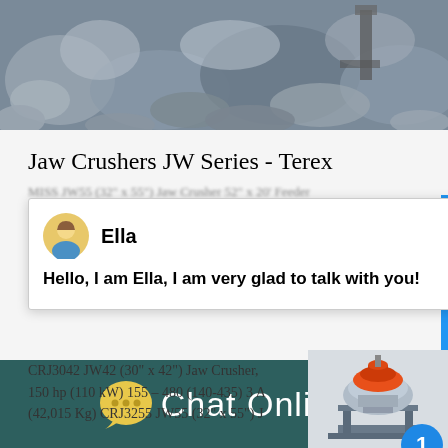[Figure (photo): Aerial or wide-angle photo of rock crushing/quarry operation, grayscale tones with machinery visible]
Jaw Crushers JW Series - Terex
MISS JW55 (32" x 55") Jaw Crusher 52" x 20' Feeder
[Figure (screenshot): Chat popup window showing avatar of Ella with message: Hello, I am Ella, I am very glad to talk with you!]
CRJ3042 JW42 (30" x 42") Jaw Crusher, 150 hp (110 kW) 155 – 480 (140-435) 3 A (42,015 Kg) CRJ3255 JW55 (32" x 55") J
[Figure (photo): Industrial crushing machinery, cone crusher with orange/red top section on a steel frame structure]
[Figure (infographic): Chat Online footer banner with speech bubble icon and text Chat Online on dark teal background]